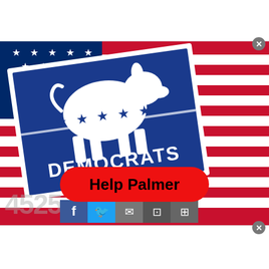[Figure (photo): A blue Democrats political sign featuring the Democratic donkey symbol with stars and the word DEMOCRATS in white text, placed on top of an American flag background with red, white, and blue stripes and stars.]
Help Palmer
4525